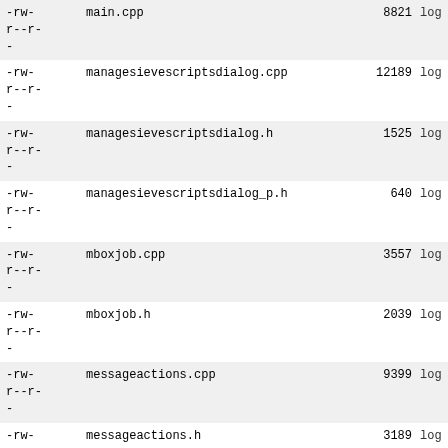| permissions | filename | size | action |
| --- | --- | --- | --- |
| -rw-
r--r-
- | main.cpp | 8821 | log |
| -rw-
r--r-
- | managesievescriptsdialog.cpp | 12189 | log |
| -rw-
r--r-
- | managesievescriptsdialog.h | 1525 | log |
| -rw-
r--r-
- | managesievescriptsdialog_p.h | 640 | log |
| -rw-
r--r-
- | mboxjob.cpp | 3557 | log |
| -rw-
r--r-
- | mboxjob.h | 2039 | log |
| -rw-
r--r-
- | messageactions.cpp | 9399 | log |
| -rw-
r--r-
- | messageactions.h | 3189 | log |
| -rw-
r--r-
- | messagecomposer.cpp | 86679 | log |
| -rw-
r--r-
- | messagecomposer.h | 9675 | log |